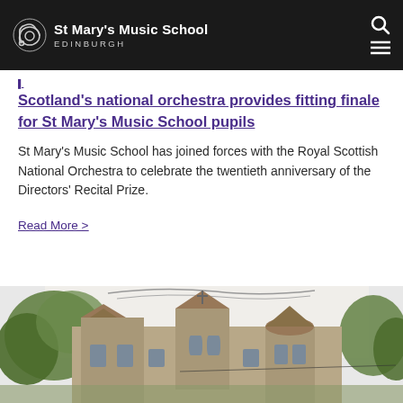St Mary's Music School EDINBURGH
Scotland's national orchestra provides fitting finale for St Mary's Music School pupils
St Mary's Music School has joined forces with the Royal Scottish National Orchestra to celebrate the twentieth anniversary of the Directors' Recital Prize.
Read More >
[Figure (photo): Exterior photograph of St Mary's Music School building showing stone towers with a cross, surrounded by trees]